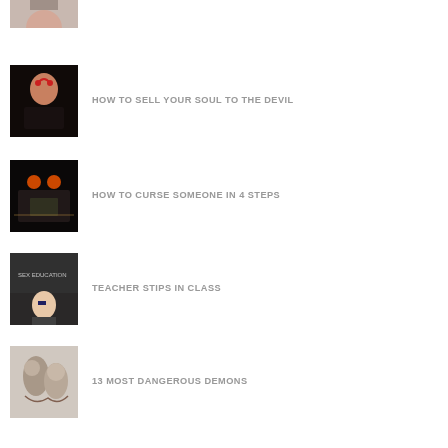[Figure (photo): Partial thumbnail image at top, cropped face/person]
[Figure (photo): Thumbnail: person dressed as devil reading a book]
HOW TO SELL YOUR SOUL TO THE DEVIL
[Figure (photo): Thumbnail: candles and dark occult imagery]
HOW TO CURSE SOMEONE IN 4 STEPS
[Figure (photo): Thumbnail: female teacher in front of chalkboard with 'Sex Education']
TEACHER STIPS IN CLASS
[Figure (photo): Thumbnail: black and white drawing of demons]
13 MOST DANGEROUS DEMONS
11 HINTS YOU MIGHT BE DESCENDED FROM ALIENS
10 WAYS TO IDENTIFY SATANISTS
PLANET NIBURU TO COLLIDE WITH EARTH!